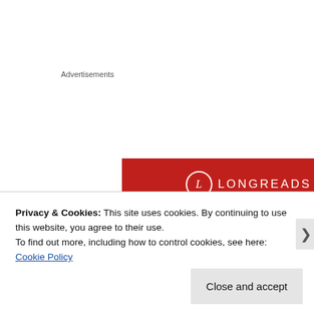Advertisements
[Figure (illustration): Longreads advertisement banner on red background. Shows Longreads logo (circle with L) and text: The best stories on the web – ours, and everyone else's. With a Start reading button at the bottom.]
Privacy & Cookies: This site uses cookies. By continuing to use this website, you agree to their use.
To find out more, including how to control cookies, see here: Cookie Policy